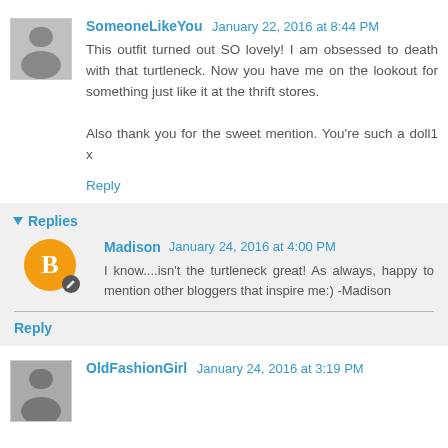SomeoneLikeYou January 22, 2016 at 8:44 PM
This outfit turned out SO lovely! I am obsessed to death with that turtleneck. Now you have me on the lookout for something just like it at the thrift stores.

Also thank you for the sweet mention. You're such a doll1 x
Reply
Replies
Madison January 24, 2016 at 4:00 PM
I know....isn't the turtleneck great! As always, happy to mention other bloggers that inspire me:) -Madison
Reply
OldFashionGirl January 24, 2016 at 3:19 PM